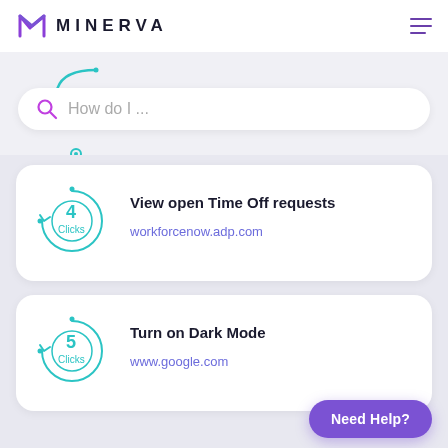[Figure (logo): Minerva logo with purple M icon and MINERVA text in dark letters]
[Figure (screenshot): Search bar with purple magnifying glass icon and placeholder text 'How do I ...']
[Figure (infographic): Teal circular icon showing '4 Clicks' with arrow]
View open Time Off requests
workforcenow.adp.com
[Figure (infographic): Teal circular icon showing '5 Clicks' with arrow]
Turn on Dark Mode
www.google.com
Need Help?